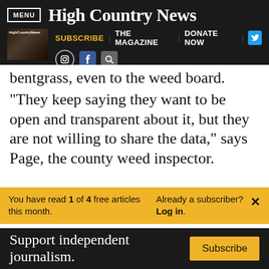MENU | High Country News | SUBSCRIBE | THE MAGAZINE | DONATE NOW
bentgrass, even to the weed board.
“They keep saying they want to be open and transparent about it, but they are not willing to share the data,” says Page, the county weed inspector.
You have read 1 of 4 free articles this month. Already a subscriber? Log in.
Support independent journalism. Subscribe